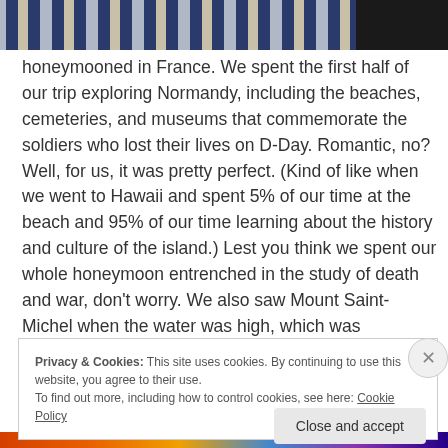[Figure (photo): Close-up photo of fabric with blue and white diagonal stripes, partially cut off at right by dark area]
honeymooned in France. We spent the first half of our trip exploring Normandy, including the beaches, cemeteries, and museums that commemorate the soldiers who lost their lives on D-Day. Romantic, no? Well, for us, it was pretty perfect. (Kind of like when we went to Hawaii and spent 5% of our time at the beach and 95% of our time learning about the history and culture of the island.) Lest you think we spent our whole honeymoon entrenched in the study of death and war, don't worry. We also saw Mount Saint-Michel when the water was high, which was something straight out of a fairy tale. A tiny turreted
Privacy & Cookies: This site uses cookies. By continuing to use this website, you agree to their use.
To find out more, including how to control cookies, see here: Cookie Policy
Close and accept